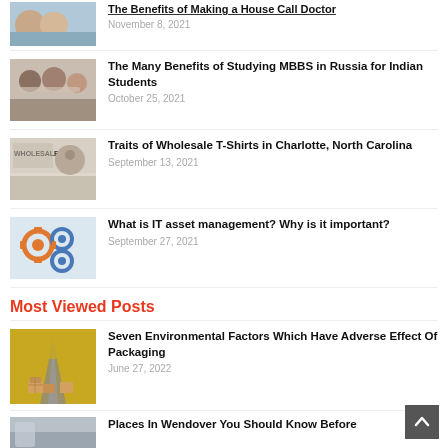[Figure (photo): Doctor with elderly patient - house call doctor]
The Benefits of Making a House Call Doctor
November 8, 2021
[Figure (photo): Students studying together]
The Many Benefits of Studying MBBS in Russia for Indian Students
October 25, 2021
[Figure (photo): Wholesale t-shirts Charlotte North Carolina]
Traits of Wholesale T-Shirts in Charlotte, North Carolina
September 13, 2021
[Figure (photo): IT asset management gears diagram]
What is IT asset management? Why is it important?
September 27, 2021
Most Viewed Posts
[Figure (photo): Road with packaging boxes - environmental factors]
Seven Environmental Factors Which Have Adverse Effect Of Packaging
June 27, 2022
[Figure (photo): Places in Wendover]
Places In Wendover You Should Know Before